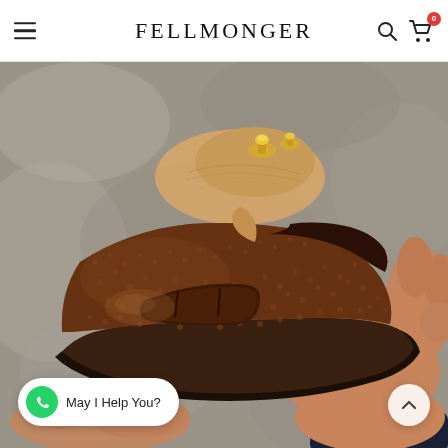FELLMONGER
[Figure (photo): A hand holding a brown pebble-grain leather penny loafer with a wooden shoe tree inserted, photographed against a stone/concrete blurred background. The shoe has a classic penny loafer strap and a dark rubber sole.]
May I Help You?